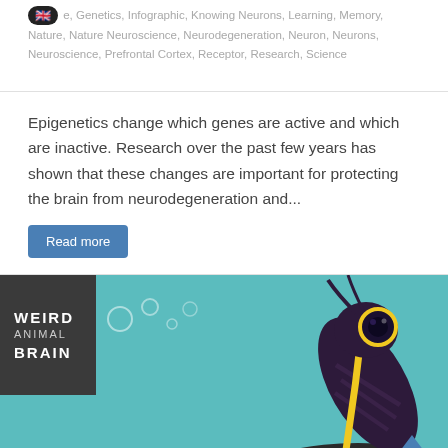Epigenetics, Genetics, Infographic, Knowing Neurons, Learning, Memory, Nature, Nature Neuroscience, Neurodegeneration, Neuron, Neurons, Neuroscience, Prefrontal Cortex, Receptor, Research, Science
Epigenetics change which genes are active and which are inactive. Research over the past few years has shown that these changes are important for protecting the brain from neurodegeneration and...
Read more
[Figure (illustration): Weird Animal Brain infographic banner. Dark teal/aqua background with a stylized dark purple animal (possibly a mantis shrimp or similar creature) with yellow stripe and large yellow-rimmed eyes, perched on a dark mound. White circular bubbles float in the background. A dark label box in the upper left reads WEIRD ANIMAL BRAIN. A dark bar runs along the bottom with a blue upward-pointing chevron arrow at the bottom right.]